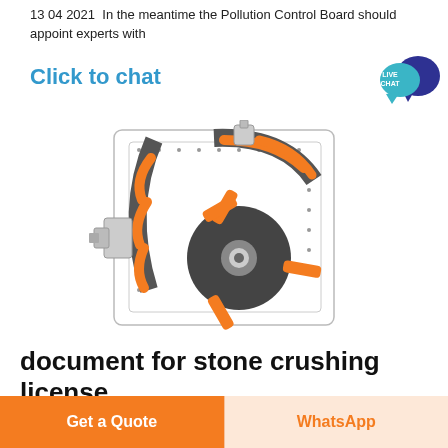13 04 2021  In the meantime the Pollution Control Board should appoint experts with
Click to chat
[Figure (illustration): Technical cutaway illustration of a stone crusher machine with orange and dark grey components including rotating disc with arms and curved jaw plates.]
[Figure (illustration): Live Chat speech bubble badge with teal and dark blue colors showing LIVE CHAT text.]
document for stone crushing license
Lorem ipsum is simply free text dolor sit am
Get a Quote
WhatsApp